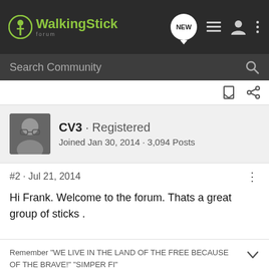[Figure (screenshot): WalkingStick Forum navigation bar with logo, NEW button, list icon, user icon, and dots menu]
[Figure (screenshot): Search Community search bar]
[Figure (screenshot): Toolbar with bookmark and share icons]
CV3 · Registered
Joined Jan 30, 2014 · 3,094 Posts
#2 · Jul 21, 2014
Hi Frank. Welcome to the forum. Thats a great group of sticks .
Remember "WE LIVE IN THE LAND OF THE FREE BECAUSE OF THE BRAVE!" "SIMPER FI"